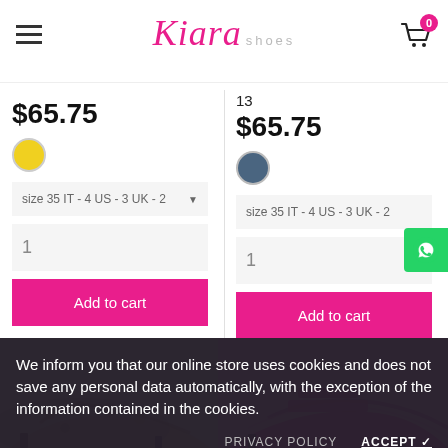[Figure (screenshot): Kiara Shoes e-commerce website header with hamburger menu, logo, and cart icon showing 0 items]
$65.75
13
$65.75
[Figure (other): Yellow color swatch circle]
[Figure (other): Dark blue/navy color swatch circle]
size 35 IT - 4 US - 3 UK - 2
size 35 IT - 4 US - 3 UK - 2
1
1
Add to cart
Add to cart
We inform you that our online store uses cookies and does not save any personal data automatically, with the exception of the information contained in the cookies.
PRIVACY POLICY
ACCEPT ✓